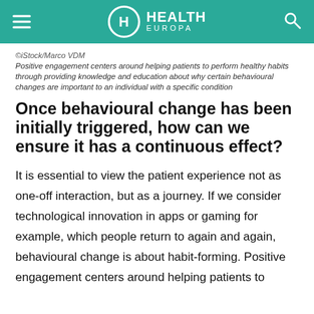HEALTH EUROPA
©iStock/Marco VDM
Positive engagement centers around helping patients to perform healthy habits through providing knowledge and education about why certain behavioural changes are important to an individual with a specific condition
Once behavioural change has been initially triggered, how can we ensure it has a continuous effect?
It is essential to view the patient experience not as one-off interaction, but as a journey. If we consider technological innovation in apps or gaming for example, which people return to again and again, behavioural change is about habit-forming. Positive engagement centers around helping patients to